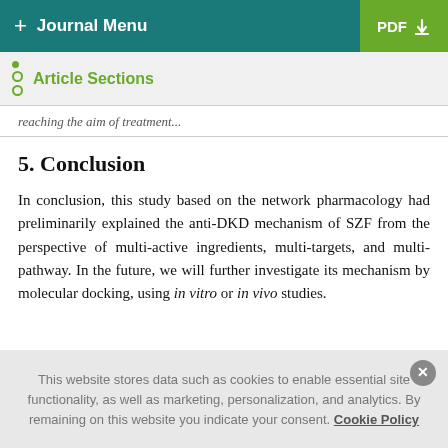+ Journal Menu | PDF ↓
Article Sections
reaching the aim of treatment...
5. Conclusion
In conclusion, this study based on the network pharmacology had preliminarily explained the anti-DKD mechanism of SZF from the perspective of multi-active ingredients, multi-targets, and multi-pathway. In the future, we will further investigate its mechanism by molecular docking, using in vitro or in vivo studies.
This website stores data such as cookies to enable essential site functionality, as well as marketing, personalization, and analytics. By remaining on this website you indicate your consent. Cookie Policy